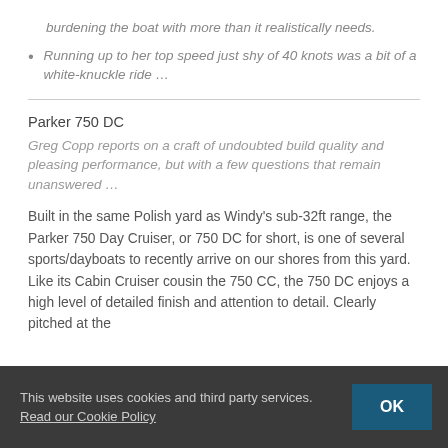burdening the boat with more than it realistically needs.
Running up to her top speed just shy of 40 knots was a bit of a white-knuckle ride …
Parker 750 DC
Greg Copp reports on a craft of undoubted build quality and pleasing performance, but with a few questions that remain unanswered …
Built in the same Polish yard as Windy's sub-32ft range, the Parker 750 Day Cruiser, or 750 DC for short, is one of several sports/dayboats to recently arrive on our shores from this yard. Like its Cabin Cruiser cousin the 750 CC, the 750 DC enjoys a high level of detailed finish and attention to detail. Clearly pitched at the family boat market, it comes with a range of innovative features of
This website uses cookies and third party services. Read our Cookie Policy